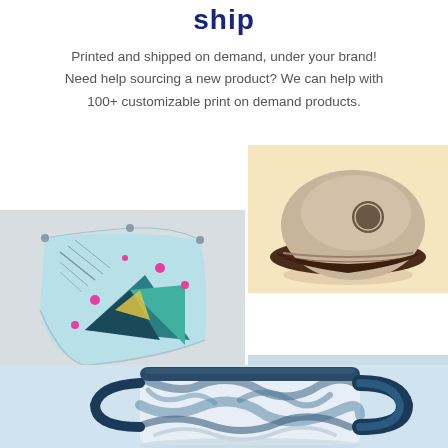ship
Printed and shipped on demand, under your brand! Need help sourcing a new product? We can help with 100+ customizable print on demand products.
[Figure (photo): Product collage showing a printed tapestry/flag with geometric teal design, a branded baseball cap on cream background, and a marbled blue mug on light blue background]